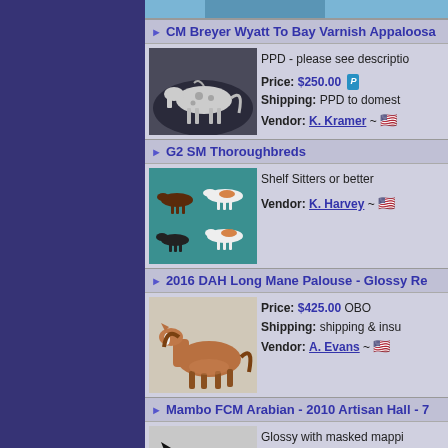[Figure (photo): Top image strip showing a horse figurine]
CM Breyer Wyatt To Bay Varnish Appaloosa
[Figure (photo): CM Breyer Wyatt horse figurine in bay varnish appaloosa color on leather couch]
PPD - please see description
Price: $250.00
Shipping: PPD to domestic
Vendor: K. Kramer ~ 🇺🇸
G2 SM Thoroughbreds
[Figure (photo): Multiple small G2 SM Thoroughbred horse figurines on teal background]
Shelf Sitters or better
Vendor: K. Harvey ~ 🇺🇸
2016 DAH Long Mane Palouse - Glossy Re
[Figure (photo): Brown horse figurine 2016 DAH Long Mane Palouse in glossy finish]
Price: $425.00 OBO
Shipping: shipping & insu
Vendor: A. Evans ~ 🇺🇸
Mambo FCM Arabian - 2010 Artisan Hall - 7
[Figure (photo): Black glossy Mambo FCM Arabian horse figurine with masked mapping]
Glossy with masked mapping
Price: $425.00 OBO
Shipping: shipping & insu
Vendor: A. Evans ~ 🇺🇸